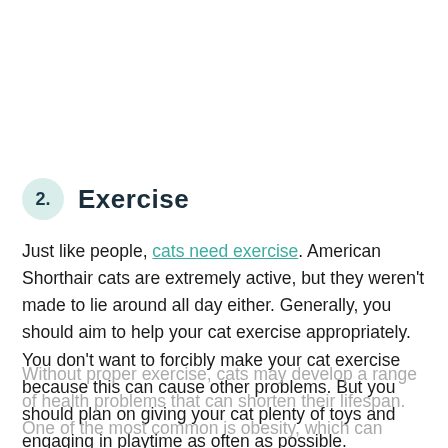2. Exercise
Just like people, cats need exercise. American Shorthair cats are extremely active, but they weren't made to lie around all day either. Generally, you should aim to help your cat exercise appropriately. You don't want to forcibly make your cat exercise because this can cause other problems. But you should plan on giving your cat plenty of toys and engaging in playtime as often as possible.
Without proper exercise, cats may develop a range of health problems that can shorten their lifespan. One of the most common is obesity, which can cause all sorts of other